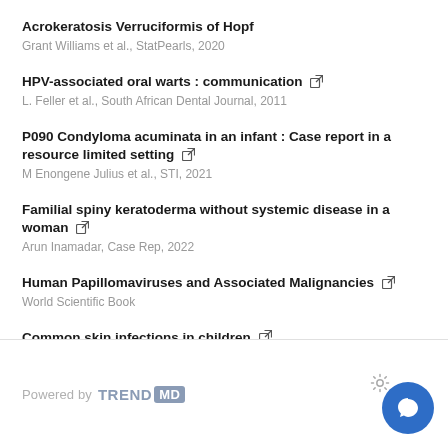Acrokeratosis Verruciformis of Hopf
Grant Williams et al., StatPearls, 2020
HPV-associated oral warts : communication [external link]
L. Feller et al., South African Dental Journal, 2011
P090 Condyloma acuminata in an infant : Case report in a resource limited setting [external link]
M Enongene Julius et al., STI, 2021
Familial spiny keratoderma without systemic disease in a woman [external link]
Arun Inamadar, Case Rep, 2022
Human Papillomaviruses and Associated Malignancies [external link]
World Scientific Book
Common skin infections in children [external link]
Michael J Sladden et al., The BMJ, 2004
Powered by TRENDMD